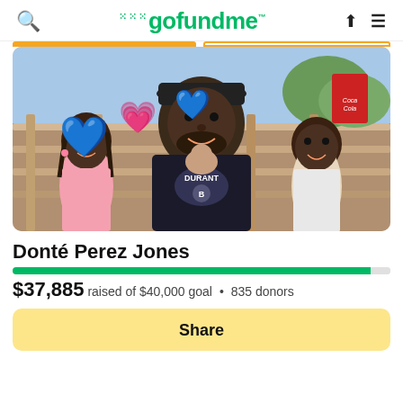gofundme
[Figure (photo): A man wearing a Brooklyn Nets Durant jersey holding a newborn baby, flanked by a young girl on the left and a young boy on the right. Blue and pink heart emojis are visible in the upper left. Background shows an outdoor setting with wooden fence railings and a Coca-Cola sign.]
Donté Perez Jones
$37,885 raised of $40,000 goal • 835 donors
Share